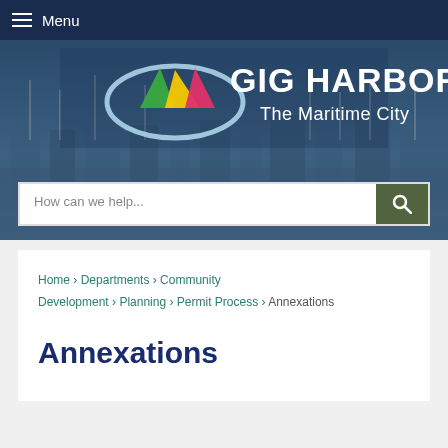Menu
[Figure (screenshot): Gig Harbor city website header banner with logo showing colorful sailboat sails and text 'GIG HARBOR The Maritime City' on a bluish background with a harbor/marina photo]
How can we help...
Home › Departments › Community Development › Planning › Permit Process › Annexations
Annexations